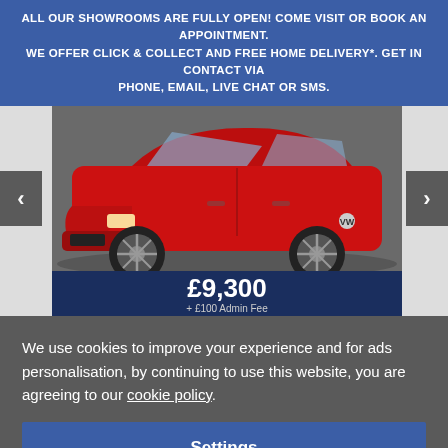ALL OUR SHOWROOMS ARE FULLY OPEN! COME VISIT OR BOOK AN APPOINTMENT. WE OFFER CLICK & COLLECT AND FREE HOME DELIVERY*. GET IN CONTACT VIA PHONE, EMAIL, LIVE CHAT OR SMS.
[Figure (photo): Photo of a red Volkswagen car in a showroom/lot, shown from front-left angle. Navigation arrows on left and right sides. Price panel showing £9,300 + £100 Admin Fee below the image.]
We use cookies to improve your experience and for ads personalisation, by continuing to use this website, you are agreeing to our cookie policy.
Settings
Accept all